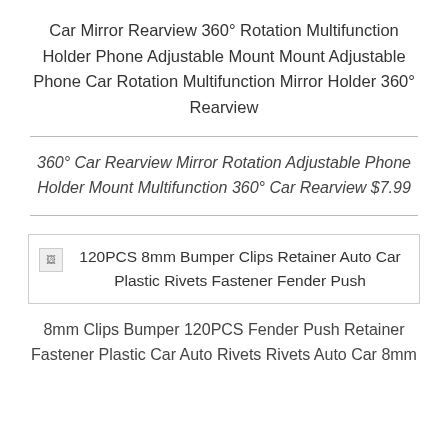Car Mirror Rearview 360° Rotation Multifunction Holder Phone Adjustable Mount Mount Adjustable Phone Car Rotation Multifunction Mirror Holder 360° Rearview
360° Car Rearview Mirror Rotation Adjustable Phone Holder Mount Multifunction 360° Car Rearview $7.99
[Figure (photo): Broken image placeholder for 120PCS 8mm Bumper Clips Retainer Auto Car Plastic Rivets Fastener Fender Push]
8mm Clips Bumper 120PCS Fender Push Retainer Fastener Plastic Car Auto Rivets Rivets Auto Car 8mm